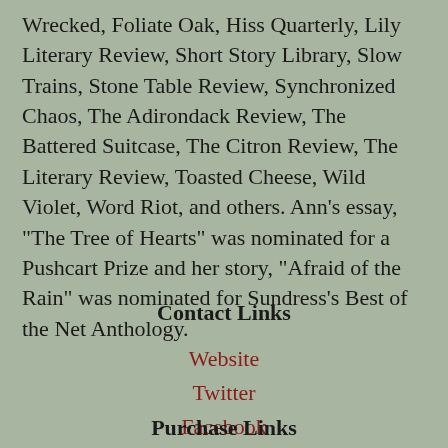Wrecked, Foliate Oak, Hiss Quarterly, Lily Literary Review, Short Story Library, Slow Trains, Stone Table Review, Synchronized Chaos, The Adirondack Review, The Battered Suitcase, The Citron Review, The Literary Review, Toasted Cheese, Wild Violet, Word Riot, and others. Ann's essay, "The Tree of Hearts" was nominated for a Pushcart Prize and her story, "Afraid of the Rain" was nominated for Sundress's Best of the Net Anthology.
Contact Links
Website
Twitter
Facebook
Promo Link
Purchase Links